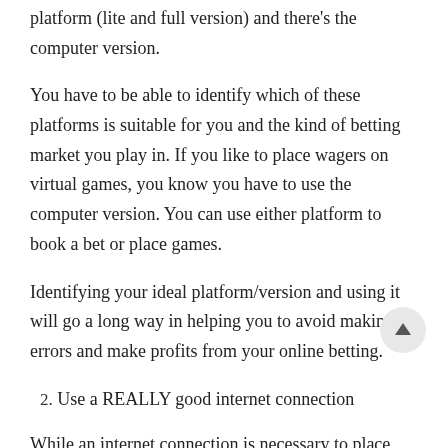platform (lite and full version) and there's the computer version.
You have to be able to identify which of these platforms is suitable for you and the kind of betting market you play in. If you like to place wagers on virtual games, you know you have to use the computer version. You can use either platform to book a bet or place games.
Identifying your ideal platform/version and using it will go a long way in helping you to avoid making errors and make profits from your online betting.
2. Use a REALLY good internet connection
While an internet connection is necessary to place bets online, a really good internet connection is necessary. Here's why: